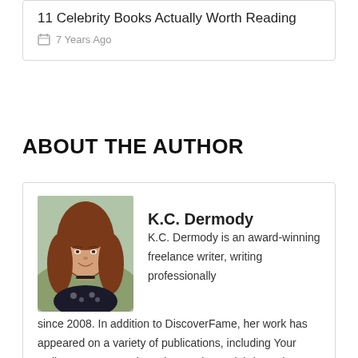11 Celebrity Books Actually Worth Reading
7 Years Ago
ABOUT THE AUTHOR
[Figure (photo): Portrait photo of K.C. Dermody, a woman with long reddish-brown hair, wearing a dark floral top, smiling outdoors.]
K.C. Dermody
K.C. Dermody is an award-winning freelance writer, writing professionally since 2008. In addition to DiscoverFame, her work has appeared on a variety of publications, including Your Daily Scoop, OMG! by Yahoo, YahooCelebrity, Yahoo News, SheKnows, and LifestyleDaily. Her writing specialties revolve around entertainment, travel, and